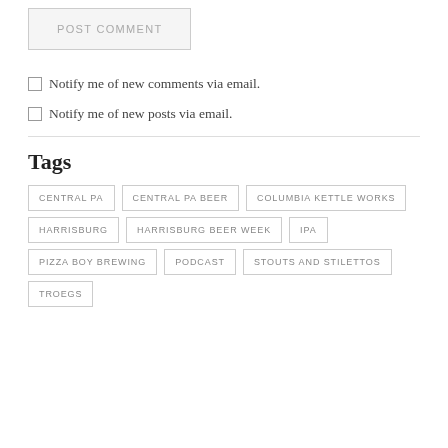POST COMMENT
Notify me of new comments via email.
Notify me of new posts via email.
Tags
CENTRAL PA
CENTRAL PA BEER
COLUMBIA KETTLE WORKS
HARRISBURG
HARRISBURG BEER WEEK
IPA
PIZZA BOY BREWING
PODCAST
STOUTS AND STILETTOS
TROEGS